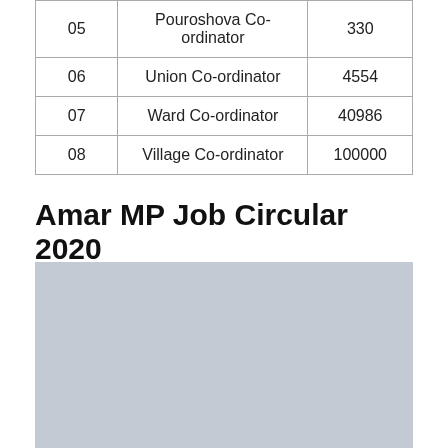| 05 | Pouroshova Co-ordinator | 330 |
| 06 | Union Co-ordinator | 4554 |
| 07 | Ward Co-ordinator | 40986 |
| 08 | Village Co-ordinator | 100000 |
Amar MP Job Circular 2020
[Figure (photo): A large grey rectangular image placeholder area below the title.]